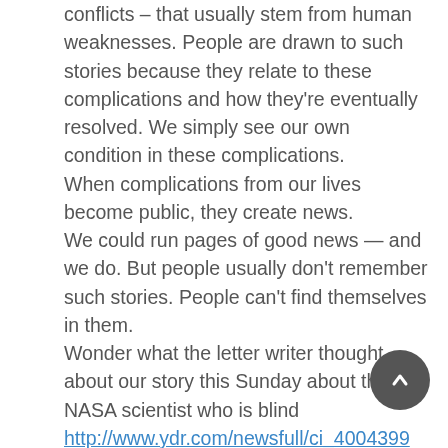conflicts – that usually stem from human weaknesses. People are drawn to such stories because they relate to these complications and how they're eventually resolved. We simply see our own condition in these complications.
When complications from our lives become public, they create news.
We could run pages of good news — and we do. But people usually don't remember such stories. People can't find themselves in them.
Wonder what the letter writer thought about our story this Sunday about the NASA scientist who is blind http://www.ydr.com/newsfull/ci_4004399 or our story last Sunday on the William Penn High School student who graduated despite a battle with cancer?